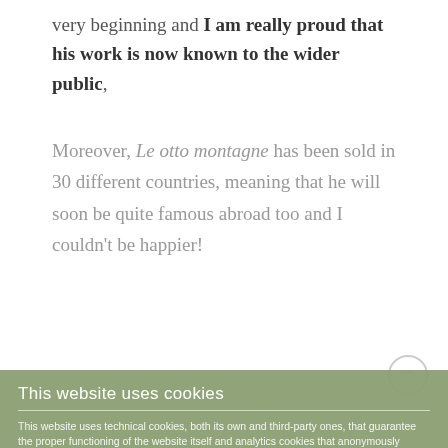very beginning and I am really proud that his work is now known to the wider public,
Moreover, Le otto montagne has been sold in 30 different countries, meaning that he will soon be quite famous abroad too and I couldn't be happier!
[Figure (screenshot): Cookie consent banner overlay on green background. Title: 'This website uses cookies'. Body text explains technical, analytics, and marketing/profiling cookies, with a Privacy Policy link. Checkboxes for Necessary (checked) and Marketing (unchecked), a Customize link, a dotted separator line, and two buttons: 'Accept selected cookies' (grey) and 'Accept all cookies' (orange). Powered by Elfsight Onetrust at the bottom.]
When the novel was published, two years ago, I immediately bought it, read it straight away and loved it.
quality that also marks its previous works as a writer: the discretion and decency with which he describes human feelings.
his novel and the characters